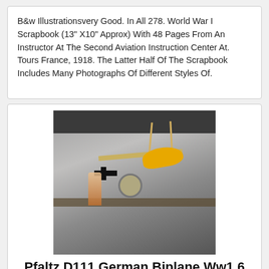B&w Illustrationsvery Good. In All 278. World War I Scrapbook (13" X10" Approx) With 48 Pages From An Instructor At The Second Aviation Instruction Center At. Tours France, 1918. The Latter Half Of The Scrapbook Includes Many Photographs Of Different Styles Of.
[Figure (photo): Photo of model biplane aircraft hanging from ceiling, yellow body with struts and wings, black cross insignia visible, with figurines and collectibles on shelf below in a collector's room.]
Pfaltz D111 German Biplane Ww1 6